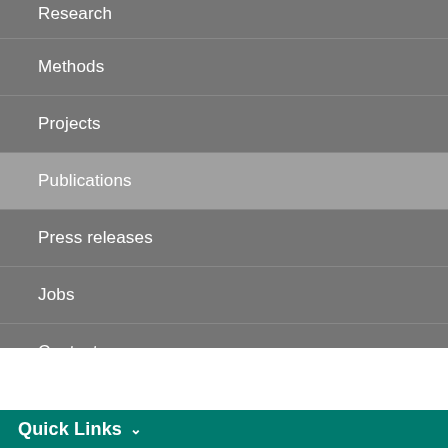Research
Methods
Projects
Publications
Press releases
Jobs
Contact
Quick Links